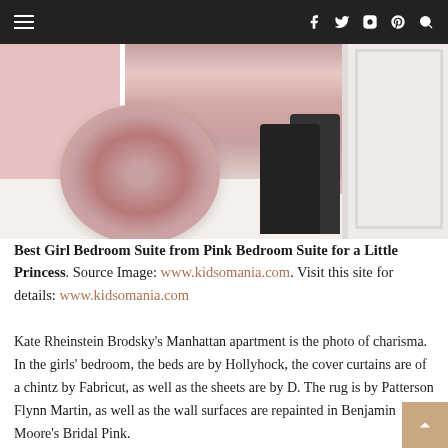Navigation header with hamburger menu and social icons (Facebook, Twitter, Instagram, Pinterest, Search)
[Figure (photo): Bedroom scene with a large fluffy pink fur pillow, black boots on a light wood floor, a small pink rug near a white door, and a pink bed headboard on the left.]
Best Girl Bedroom Suite from Pink Bedroom Suite for a Little Princess. Source Image: www.kidsomania.com. Visit this site for details: www.kidsomania.com
Kate Rheinstein Brodsky's Manhattan apartment is the photo of charisma. In the girls' bedroom, the beds are by Hollyhock, the cover curtains are of a chintz by Fabricut, as well as the sheets are by D. The rug is by Patterson Flynn Martin, as well as the wall surfaces are repainted in Benjamin Moore's Bridal Pink.